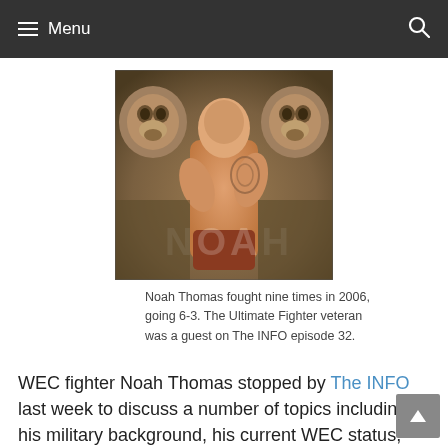Menu
[Figure (photo): MMA fighter Noah Thomas shirtless with arms crossed, flanked by dogs, with a watermark/logo overlay at the bottom.]
Noah Thomas fought nine times in 2006, going 6-3. The Ultimate Fighter veteran was a guest on The INFO episode 32.
WEC fighter Noah Thomas stopped by The INFO last week to discuss a number of topics including his military background, his current WEC status, and how he was able to get back in